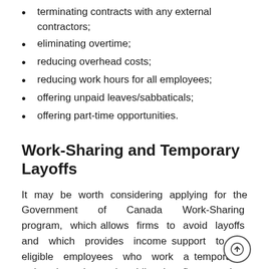terminating contracts with any external contractors;
eliminating overtime;
reducing overhead costs;
reducing work hours for all employees;
offering unpaid leaves/sabbaticals;
offering part-time opportunities.
Work-Sharing and Temporary Layoffs
It may be worth considering applying for the Government of Canada Work-Sharing program, which allows firms to avoid layoffs and which provides income support to EI-eligible employees who work a temporarily reduced work week while the firms seek to obtain more work.
If the Work-Sharing program is not suitable or if the director is seeking to elect to have more on the…